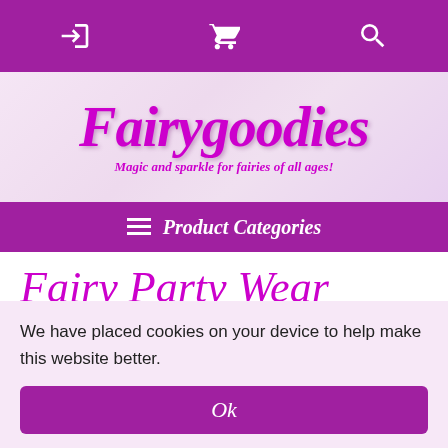Navigation bar with login, cart, and search icons
[Figure (logo): Fairygoodies logo with tagline: Magic and sparkle for fairies of all ages!]
Product Categories
Fairy Party Wear
Welcome to a world of make believe, where wishes come true and everything's magically
We have placed cookies on your device to help make this website better.
Ok